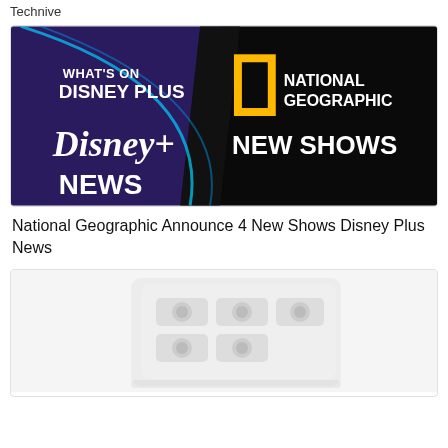Technive
[Figure (illustration): Promotional banner showing 'What's On Disney Plus' text with Disney+ logo on dark purple/black background, and National Geographic yellow rectangle logo with text 'NATIONAL GEOGRAPHIC NEW SHOWS' on black background]
National Geographic Announce 4 New Shows Disney Plus News
[Figure (photo): White electronic device or appliance (appears to be a smart home controller or switch panel) with circular buttons, photographed against white background, image partially cut off]